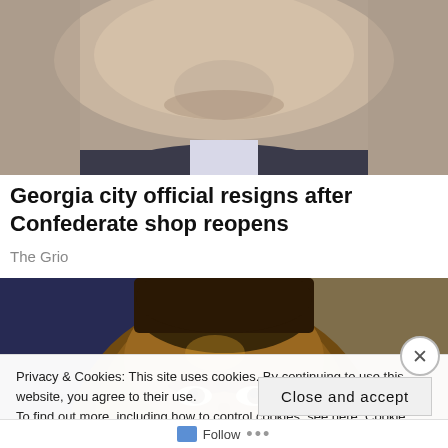[Figure (photo): Close-up photo of a man in a dark suit with light collar/shirt, visible from chin to upper chest, gray background]
Georgia city official resigns after Confederate shop reopens
The Grio
[Figure (photo): Close-up photo of a Black man's face looking slightly upward, blurred colorful background with blue and gold tones]
Privacy & Cookies: This site uses cookies. By continuing to use this website, you agree to their use.
To find out more, including how to control cookies, see here: Cookie Policy
Close and accept